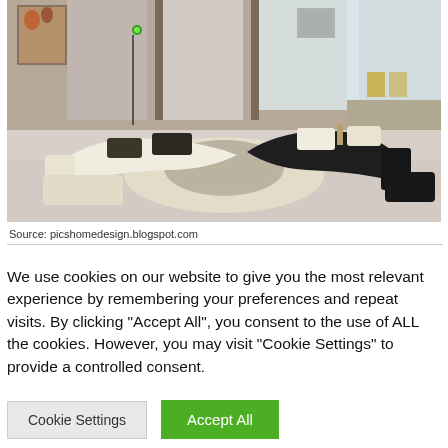[Figure (photo): Interior living room scene with two curved sofas (one white, one dark/black) arranged in a semicircle around a glass coffee table, on a light rug, in a modern open-plan room with large windows and a balcony, artwork on wall.]
Source: picshomedesign.blogspot.com
We use cookies on our website to give you the most relevant experience by remembering your preferences and repeat visits. By clicking "Accept All", you consent to the use of ALL the cookies. However, you may visit "Cookie Settings" to provide a controlled consent.
Cookie Settings
Accept All